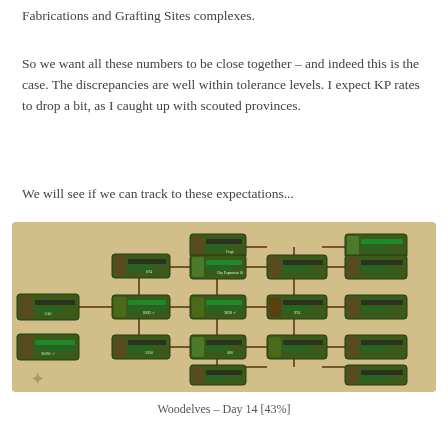Fabrications and Grafting Sites complexes.
So we want all these numbers to be close together – and indeed this is the case. The discrepancies are well within tolerance levels. I expect KP rates to drop a bit, as I caught up with scouted provinces.
We will see if we can track to these expectations...
[Figure (screenshot): A game tech tree / research tree screenshot showing various interconnected research nodes on a parchment-colored background. Nodes include items like Forge, City Expansion, Forest Glade, Forest Trail, Elvenar Fabrications, Quarry Stone, and others, connected by lines showing progression paths.]
Woodelves – Day 14 [43%]